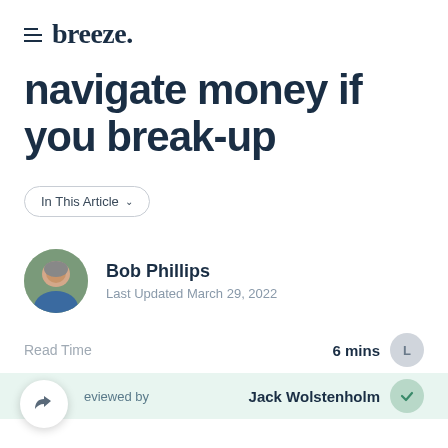breeze.
navigate money if you break-up
In This Article ▾
Bob Phillips
Last Updated March 29, 2022
Read Time   6 mins
Reviewed by   Jack Wolstenholm